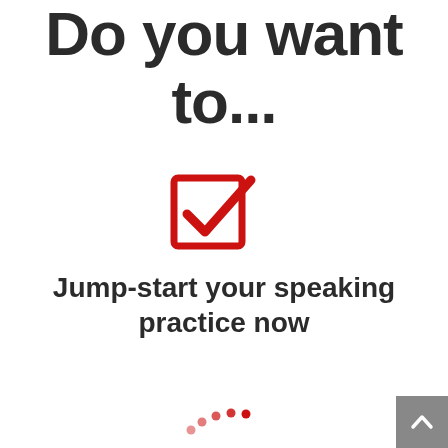Do you want to...
[Figure (illustration): A red checkbox icon — a square outline with a bold red checkmark inside it]
Jump-start your speaking practice now
[Figure (illustration): A partial red loading spinner (dots arranged in an arc)]
[Figure (illustration): A grey back-to-top button with an upward chevron arrow in the bottom right corner]